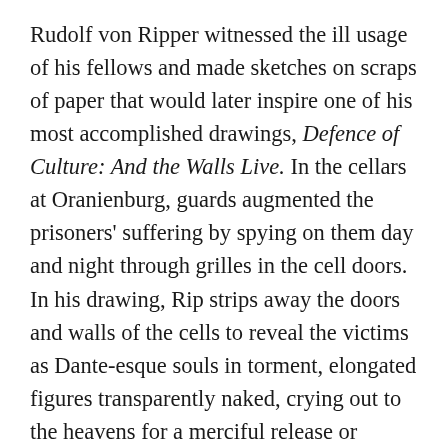Rudolf von Ripper witnessed the ill usage of his fellows and made sketches on scraps of paper that would later inspire one of his most accomplished drawings, Defence of Culture: And the Walls Live. In the cellars at Oranienburg, guards augmented the prisoners' suffering by spying on them day and night through grilles in the cell doors. In his drawing, Rip strips away the doors and walls of the cells to reveal the victims as Dante-esque souls in torment, elongated figures transparently naked, crying out to the heavens for a merciful release or hunkering in helpless despair. One victim hangs suspended and immobile in a standing cell, all self-possession lost. Two vulgar, grinning guards supervise the scene. It's all in a day's work for brutal fascists serving the Führer.